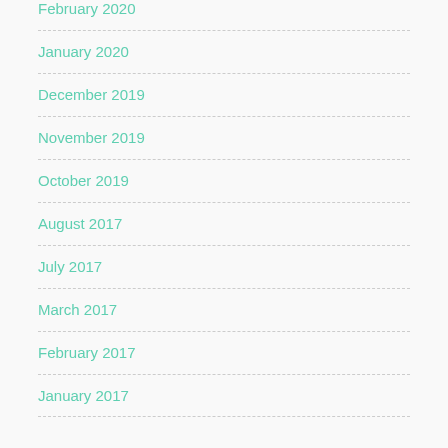February 2020
January 2020
December 2019
November 2019
October 2019
August 2017
July 2017
March 2017
February 2017
January 2017